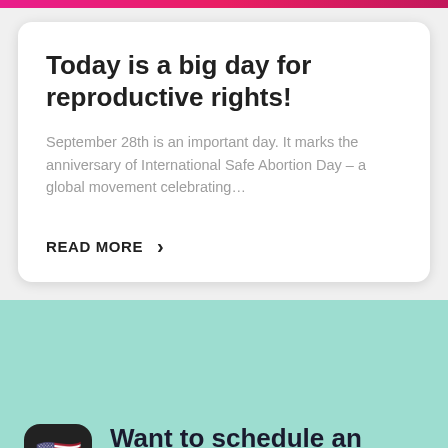Today is a big day for reproductive rights!
September 28th is an important day. It marks the anniversary of International Safe Abortion Day – a global movement celebrating…
READ MORE ›
Want to schedule an appointment?